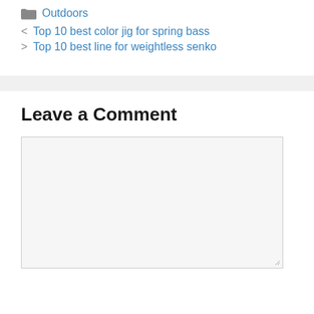Outdoors
< Top 10 best color jig for spring bass
> Top 10 best line for weightless senko
Leave a Comment